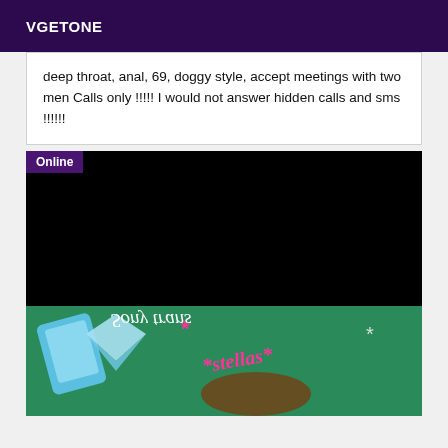VGETONE
deep throat, anal, 69, doggy style, accept meetings with two men Calls only !!!!! I would not answer hidden calls and sms !!!!!!
[Figure (photo): Dark/black image with 'Online' badge overlay in purple, followed by a teal/green image with pink and white handwritten-style text and a phone/diamond graphic]
Online